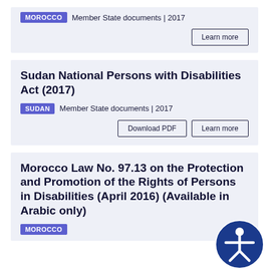MOROCCO  Member State documents | 2017
Learn more
Sudan National Persons with Disabilities Act (2017)
SUDAN  Member State documents | 2017
Download PDF  Learn more
Morocco Law No. 97.13 on the Protection and Promotion of the Rights of Persons in Disabilities (April 2016) (Available in Arabic only)
MOROCCO